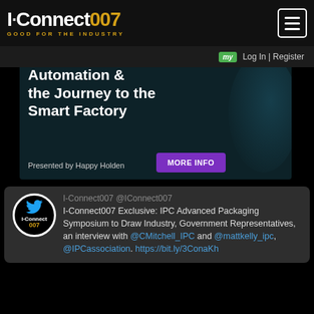I-Connect007 GOOD FOR THE INDUSTRY
[Figure (screenshot): ICT Webinar ad banner: Automation & the Journey to the Smart Factory, Presented by Happy Holden, MORE INFO button]
I-Connect007 @IConnect007
I-Connect007 Exclusive: IPC Advanced Packaging Symposium to Draw Industry, Government Representatives, an interview with @CMitchell_IPC and @mattkelly_ipc, @IPCassociation. https://bit.ly/3ConaKh
[Figure (screenshot): Thumbnail of I-Connect007 video featuring two people]